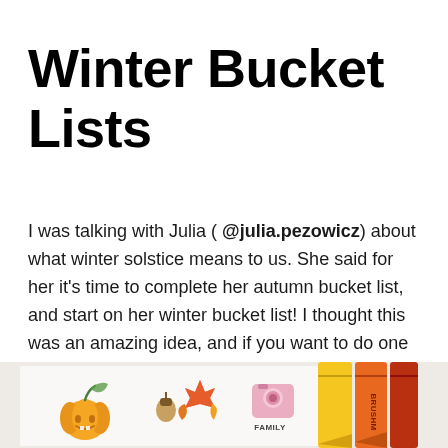Winter Bucket Lists
I was talking with Julia ( @julia.pezowicz ) about what winter solstice means to us. She said for her it's time to complete her autumn bucket list, and start on her winter bucket list! I thought this was an amazing idea, and if you want to do one too here are some ideas:
[Figure (photo): Photo showing illustrated autumn bucket list pages with drawings of a pumpkin, autumn leaves, acorn, camera icon labeled FAMILY, alongside orange and red marker pens (BRUSHM brand)]